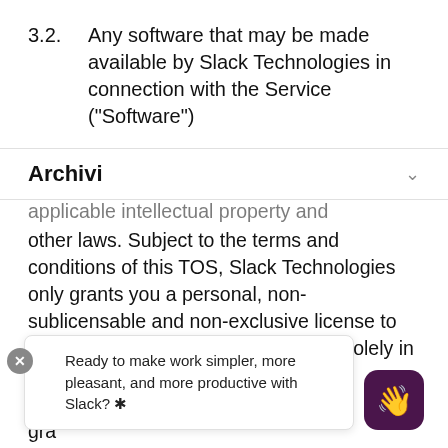3.2.  Any software that may be made available by Slack Technologies in connection with the Service (“Software”)
Archivi
applicable intellectual property and other laws. Subject to the terms and conditions of this TOS, Slack Technologies only grants you a personal, non-sublicensable and non-exclusive license to use the object code of any Software solely in connection with the Service and in accordance with our
gra...
3.3.  Slack Technologies reserves the right
Ready to make work simpler, more pleasant, and more productive with Slack? ✳